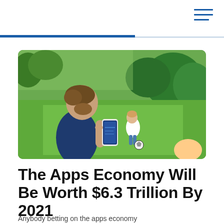[Figure (photo): A man in a dark blue t-shirt looking at his smartphone while a child plays football on a green lawn in a garden background.]
The Apps Economy Will Be Worth $6.3 Trillion By 2021
Anybody betting on the apps economy